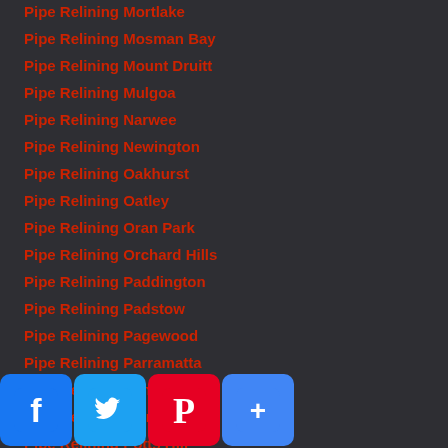Pipe Relining Mortlake
Pipe Relining Mosman Bay
Pipe Relining Mount Druitt
Pipe Relining Mulgoa
Pipe Relining Narwee
Pipe Relining Newington
Pipe Relining Oakhurst
Pipe Relining Oatley
Pipe Relining Oran Park
Pipe Relining Orchard Hills
Pipe Relining Paddington
Pipe Relining Padstow
Pipe Relining Pagewood
Pipe Relining Parramatta
Pipe Relining Penrith
Pipe Relining Picnic Point
Pipe Relining Potts Hill
Pipe Relining Prestons
Pipe Relining (partial)